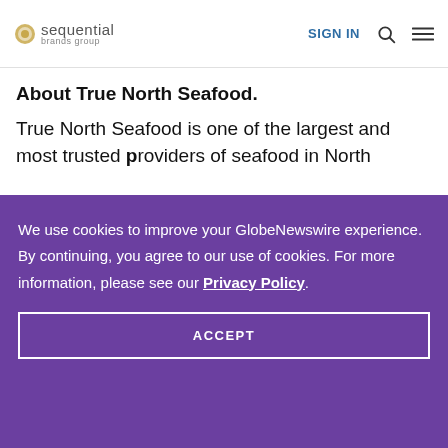sequential brands group | SIGN IN
About True North Seafood.
True North Seafood is one of the largest and most trusted providers of seafood in North
We use cookies to improve your GlobeNewswire experience. By continuing, you agree to our use of cookies. For more information, please see our Privacy Policy.
ACCEPT